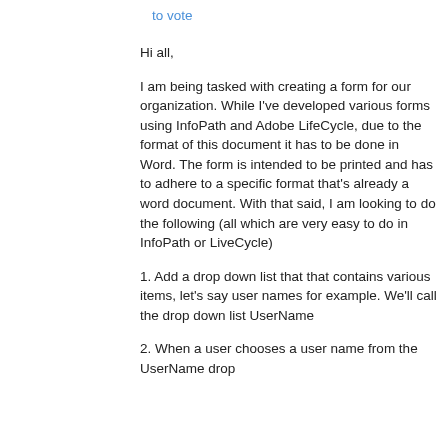to vote
Hi all,
I am being tasked with creating a form for our organization.  While I've developed various forms using InfoPath and Adobe LifeCycle, due to the format of this document it has to be done in Word.  The form is intended to be printed and has to adhere to a specific format that's already a word document.  With that said, I am looking to do the following (all which are very easy to do in InfoPath or LiveCycle)
1. Add a drop down list that that contains various items, let's say user names for example.  We'll call the drop down list UserName
2. When a user chooses a user name from the UserName drop